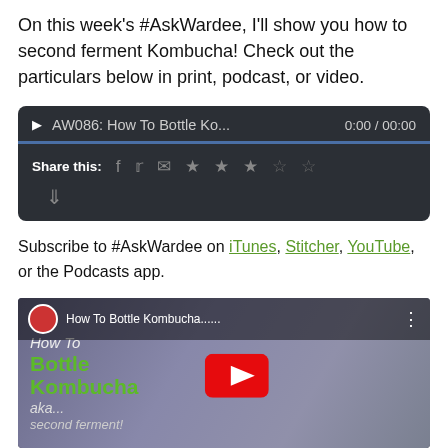On this week's #AskWardee, I'll show you how to second ferment Kombucha! Check out the particulars below in print, podcast, or video.
[Figure (screenshot): Embedded audio player widget with dark background showing 'AW086: How To Bottle Ko...' title, time '0:00 / 00:00', share icons for Facebook, Twitter, email, star ratings, and download button]
Subscribe to #AskWardee on iTunes, Stitcher, YouTube, or the Podcasts app.
[Figure (screenshot): YouTube video thumbnail for 'How To Bottle Kombucha......' showing a woman with curly hair opening a bottle, with green text overlay 'How To Bottle Kombucha aka... second ferment!' and a YouTube play button]